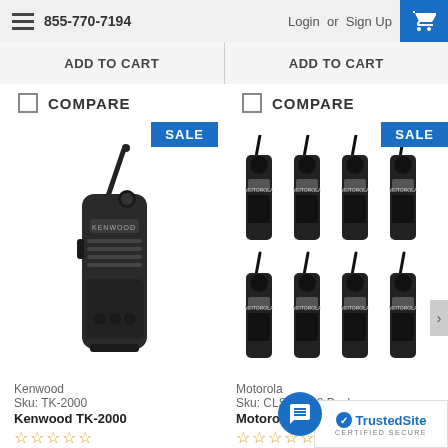855-770-7194  Login or Sign Up
ADD TO CART  ADD TO CART
COMPARE  COMPARE
[Figure (photo): Kenwood TK-2000 handheld two-way radio, black, with SALE badge]
[Figure (photo): Motorola CLS1110 8-Pack of walkie-talkies, black, with SALE badge]
Kenwood
Sku: TK-2000
Kenwood TK-2000
Motorola
Sku: CLS1110 8 Pack
Motorola CLS1110 8 Pack